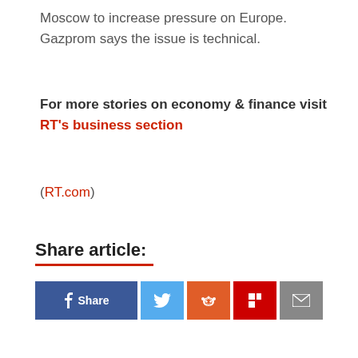Moscow to increase pressure on Europe. Gazprom says the issue is technical.
For more stories on economy & finance visit RT's business section
(RT.com)
Share article:
[Figure (other): Social sharing buttons: Facebook Share, Twitter, Reddit, Flipboard, Email]